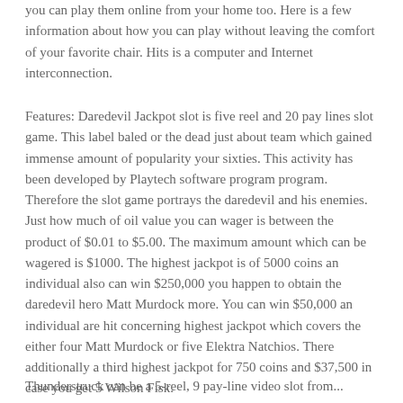you can play them online from your home too. Here is a few information about how you can play without leaving the comfort of your favorite chair. Hits is a computer and Internet interconnection.
Features: Daredevil Jackpot slot is five reel and 20 pay lines slot game. This label baled or the dead just about team which gained immense amount of popularity your sixties. This activity has been developed by Playtech software program program. Therefore the slot game portrays the daredevil and his enemies. Just how much of oil value you can wager is between the product of $0.01 to $5.00. The maximum amount which can be wagered is $1000. The highest jackpot is of 5000 coins an individual also can win $250,000 you happen to obtain the daredevil hero Matt Murdock more. You can win $50,000 an individual are hit concerning highest jackpot which covers the either four Matt Murdock or five Elektra Natchios. There additionally a third highest jackpot for 750 coins and $37,500 in case you get 5 Wilson Fisk.
Thunderstruck can be a 5-reel, 9 pay-line video slot from...